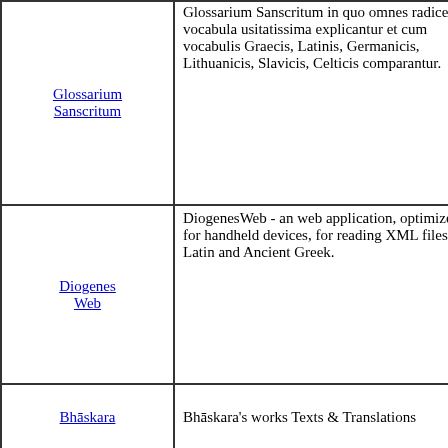| Link | Description |
| --- | --- |
| Glossarium Sanscritum | Glossarium Sanscritum in quo omnes radices et vocabula usitatissima explicantur et cum vocabulis Graecis, Latinis, Germanicis, Lithuanicis, Slavicis, Celticis comparantur. |
| Diogenes Web | DiogenesWeb - an web application, optimized for handheld devices, for reading XML files of Latin and Ancient Greek. |
| Bhāskara | Bhāskara's works Texts & Translations |
| Studies on Bhāskara | Studies on Bhāskara |
| Śiṣya Dhī Vṛddhida Tantra | Sanskrit Astronomy text by Lalla (6th century) with English commentary |